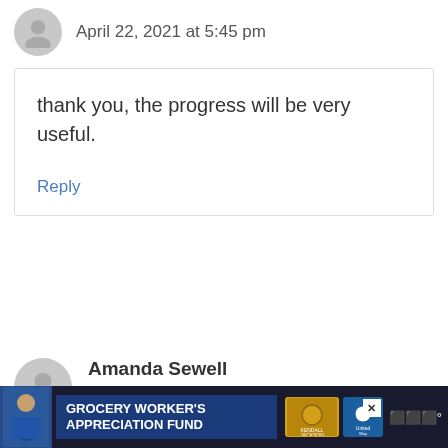April 22, 2021 at 5:45 pm
thank you, the progress will be very useful.
Reply
Amanda Sewell
April 28, 2021 at 1:10 pm
[Figure (infographic): Advertisement banner: Grocery Worker's Appreciation Fund with Kendall Jackson and United Way logos]